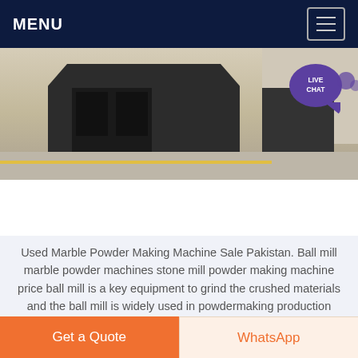MENU
[Figure (photo): Industrial marble crusher machine equipment on a factory floor with yellow safety line]
Marble Crusher Making Powder ...
Used Marble Powder Making Machine Sale Pakistan. Ball mill marble powder machines stone mill powder making machine price ball mill is a key equipment to grind the crushed materials and the ball mill is widely used in powdermaking production line including cement silie newtype building material refractory material fertilier ore dressing of
Get a Quote
WhatsApp